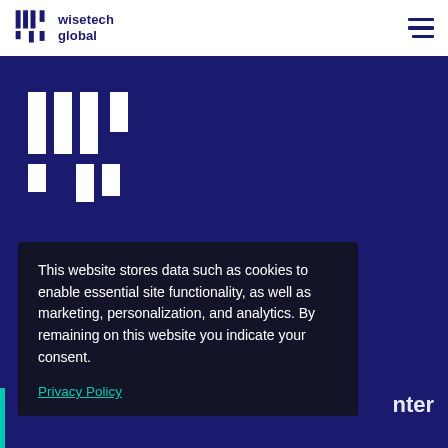WiseTech Global
[Figure (logo): WiseTech Global large logo mark in white on dark navy background]
This website stores data such as cookies to enable essential site functionality, as well as marketing, personalization, and analytics. By remaining on this website you indicate your consent.

Privacy Policy